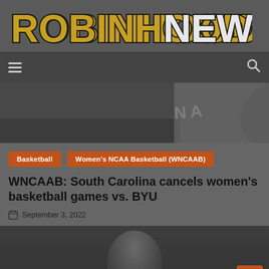[Figure (logo): RobinhoodNews logo with gold and black stylized text on dark gray background]
[Figure (photo): Navigation bar with hamburger menu icon on left and search icon on right, dark background]
[Figure (photo): Hero image showing partial basketball/NCAA related imagery, dark toned photo]
Basketball
Women's NCAA Basketball (WNCAAB)
WNCAAB: South Carolina cancels women's basketball games vs. BYU
September 3, 2022
[Figure (photo): Bottom photo showing a person, likely a basketball player or coach, dark toned image]